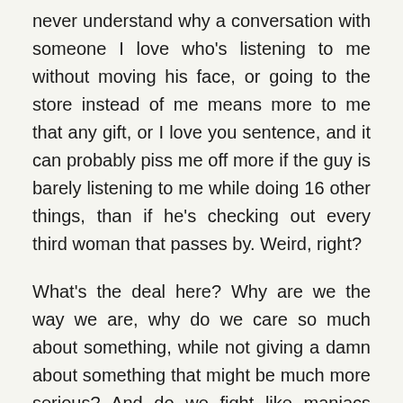never understand why a conversation with someone I love who's listening to me without moving his face, or going to the store instead of me means more to me that any gift, or I love you sentence, and it can probably piss me off more if the guy is barely listening to me while doing 16 other things, than if he's checking out every third woman that passes by. Weird, right?
What's the deal here? Why are we the way we are, why do we care so much about something, while not giving a damn about something that might be much more serious? And do we fight like maniacs because we DON'T KNOW what